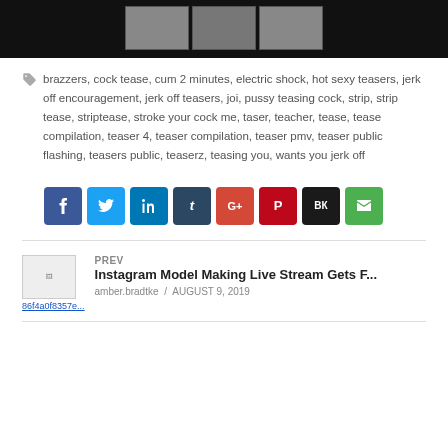[Figure (screenshot): Video thumbnail strip showing black background with partial video thumbnails]
brazzers, cock tease, cum 2 minutes, electric shock, hot sexy teasers, jerk off encouragement, jerk off teasers, joi, pussy teasing cock, strip, strip tease, striptease, stroke your cock me, taser, teacher, tease, tease compilation, teaser 4, teaser compilation, teaser pmv, teaser public flashing, teasers public, teaserz, teasing you, wants you jerk off
[Figure (infographic): Row of social share buttons: Facebook, Twitter, LinkedIn, Tumblr, Google+, Pinterest, VK, Email]
PREV
Instagram Model Making Live Stream Gets F...
amber.bradtke / AUGUST 9, 2019